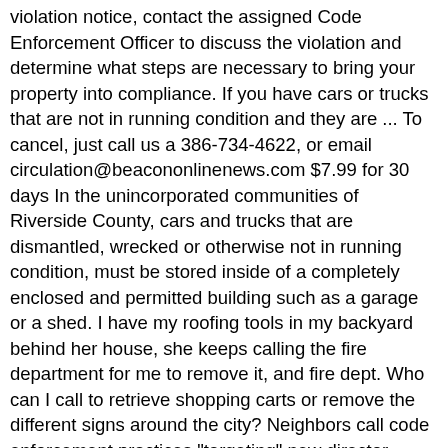violation notice, contact the assigned Code Enforcement Officer to discuss the violation and determine what steps are necessary to bring your property into compliance. If you have cars or trucks that are not in running condition and they are ... To cancel, just call us a 386-734-4622, or email circulation@beacononlinenews.com $7.99 for 30 days In the unincorporated communities of Riverside County, cars and trucks that are dismantled, wrecked or otherwise not in running condition, must be stored inside of a completely enclosed and permitted building such as a garage or a shed. I have my roofing tools in my backyard behind her house, she keeps calling the fire department for me to remove it, and fire dept. Who can I call to retrieve shopping carts or remove the different signs around the city? Neighbors call code enforcement practices "targeting" new director moving to service approach By: Kylie Walker Posted: Oct 10, 2018 12:11 AM EDT One of my neighbors came over to ask if it was OK for her to trim the weeds along the alleyway side of my 8ft privacy fence because they were going to seed. Neighbors fight to save a park they spent money and time developing, after